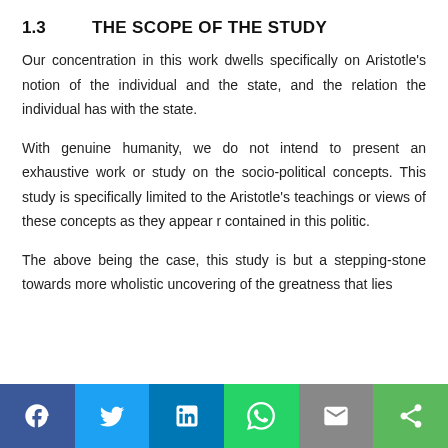1.3	THE SCOPE OF THE STUDY
Our concentration in this work dwells specifically on Aristotle's notion of the individual and the state, and the relation the individual has with the state.
With genuine humanity, we do not intend to present an exhaustive work or study on the socio-political concepts. This study is specifically limited to the Aristotle's teachings or views of these concepts as they appear r contained in this politic.
The above being the case, this study is but a stepping-stone towards more wholistic uncovering of the greatness that lies